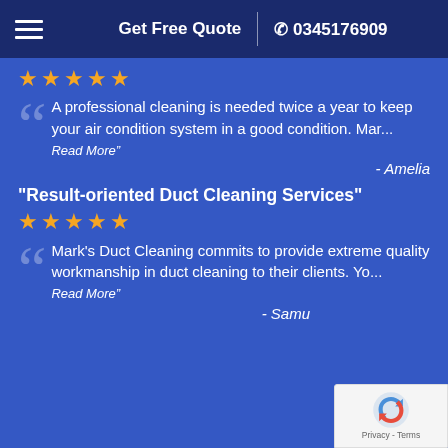Get Free Quote | 0345176909
★★★★★
A professional cleaning is needed twice a year to keep your air condition system in a good condition. Mar...
Read More"
- Amelia
"Result-oriented Duct Cleaning Services"
★★★★★
Mark's Duct Cleaning commits to provide extreme quality workmanship in duct cleaning to their clients. Yo...
Read More"
- Samu